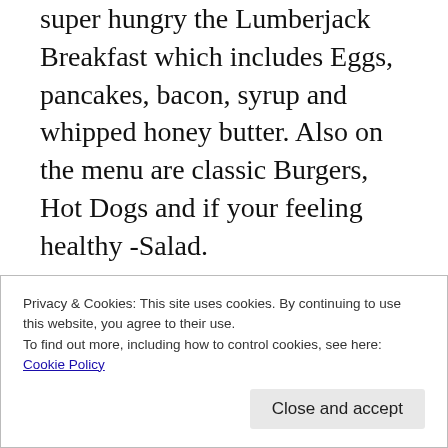super hungry the Lumberjack Breakfast which includes Eggs, pancakes, bacon, syrup and whipped honey butter. Also on the menu are classic Burgers, Hot Dogs and if your feeling healthy -Salad.
However, what really makes ‘The Diners’ menu stand out is the Blue Plates or what I interpret to be their authentic American dishes and Boy!they are DELICIOUS 😋. Tempting you with mouthwatering MAC & Cheese, Buttermilk
Privacy & Cookies: This site uses cookies. By continuing to use this website, you agree to their use.
To find out more, including how to control cookies, see here:
Cookie Policy
Close and accept